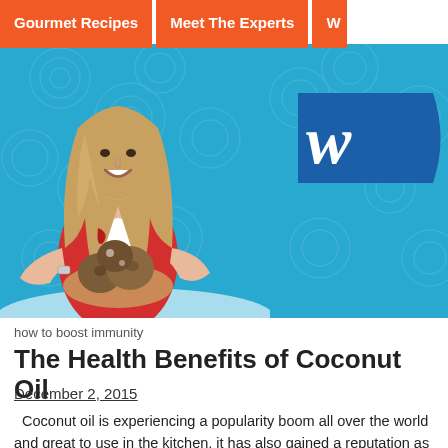Gourmet Recipes | Meet The Experts | W...
[Figure (photo): Woman in red top holding coconuts in front of a blue patterned background with a logo.]
how to boost immunity
The Health Benefits of Coconut Oil
December 2, 2015
Coconut oil is experiencing a popularity boom all over the world and great to use in the kitchen, it has also gained a reputation as number of ailments. However, when something is hyped as much...